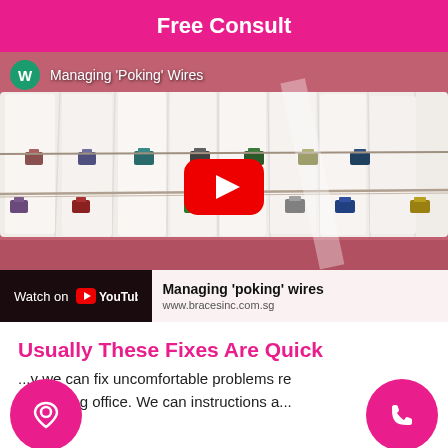Free Consult
[Figure (screenshot): YouTube video thumbnail showing dental braces close-up with colorful brackets and wires. Video title: 'Managing Poking Wires'. YouTube play button visible. Bottom bar shows 'Watch on YouTube' and 'Managing poking wires / www.bracesinc.com.sg']
Usually These Fixes Are Quick
...y we can fix uncomfortable problems re... ...oid bring office. We can instructions a...